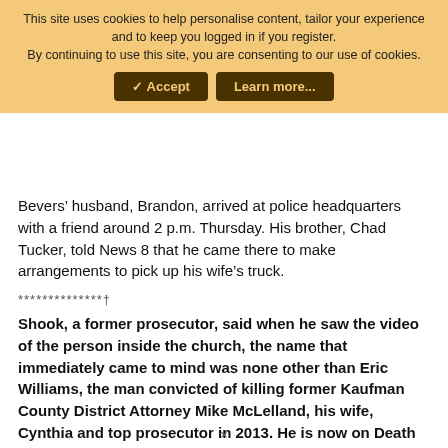This site uses cookies to help personalise content, tailor your experience and to keep you logged in if you register.
By continuing to use this site, you are consenting to our use of cookies.
✓ Accept   Learn more...
Bevers&#8217; husband, Brandon, arrived at police headquarters with a friend around 2 p.m. Thursday. His brother, Chad Tucker, told News 8 that he came there to make arrangements to pick up his wife&#8217;s truck.
**************†
Shook, a former prosecutor, said when he saw the video of the person inside the church, the name that immediately came to mind was none other than Eric Williams, the man convicted of killing former Kaufman County District Attorney Mike McLelland, his wife, Cynthia and top prosecutor in 2013. He is now on Death Row.
×